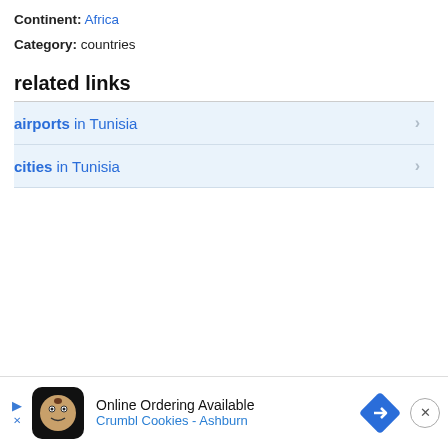Continent: Africa
Category: countries
related links
airports in Tunisia
cities in Tunisia
[Figure (other): Advertisement banner: Online Ordering Available, Crumbl Cookies - Ashburn, with cookie mascot icon and navigation arrow diamond logo]